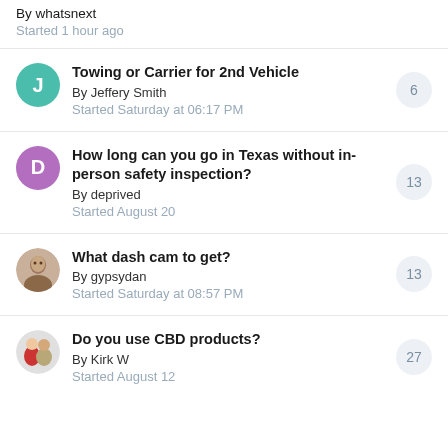By whatsnext
Started 1 hour ago
Towing or Carrier for 2nd Vehicle
By Jeffery Smith
Started Saturday at 06:17 PM
6 replies
How long can you go in Texas without in-person safety inspection?
By deprived
Started August 20
13 replies
What dash cam to get?
By gypsydan
Started Saturday at 08:57 PM
13 replies
Do you use CBD products?
By Kirk W
Started August 12
27 replies